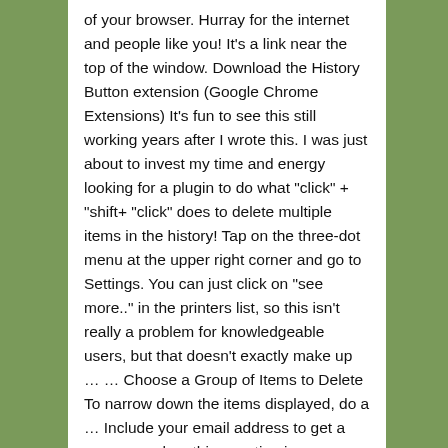of your browser. Hurray for the internet and people like you! It's a link near the top of the window. Download the History Button extension (Google Chrome Extensions) It's fun to see this still working years after I wrote this. I was just about to invest my time and energy looking for a plugin to do what "click" + "shift+ "click" does to delete multiple items in the history! Tap on the three-dot menu at the upper right corner and go to Settings. You can just click on "see more.." in the printers list, so this isn't really a problem for knowledgeable users, but that doesn't exactly make up … … Choose a Group of Items to Delete To narrow down the items displayed, do a … Include your email address to get a message when this question is answered. Choose the "Since the beginning of time" option - note that it will delete all of your history, and not just the bits you selected. This will not work, however, if you already cleared it, for erased browsing history is unrecoverable. How to Delete History in Google Chrome – let us take a look at different methods to do this. Open Chrome for Android. I tried the shift and Ctrl before I read your post but I could not get them to work. If you've looked around, you may know that it's easy to delete just